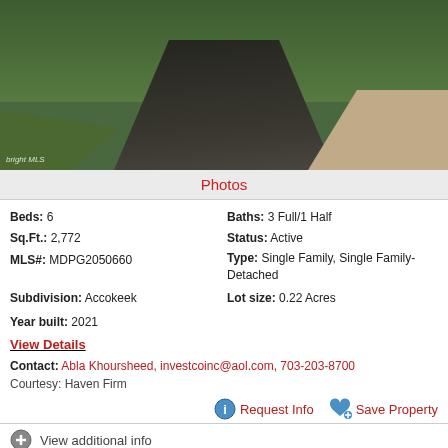[Figure (photo): Exterior photo showing a driveway and grass yard, bright MLS photo]
Photos
Beds: 6   Baths: 3 Full/1 Half   Sq.Ft.: 2,772   Status: Active   MLS#: MDPG2050660   Type: Single Family, Single Family-Detached   Subdivision: Accokeek   Lot size: 0.22 Acres   Year built: 2021
View Details
Contact: Abla Khoursheed, investcoinc@aol.com, 703-203-8700
Courtesy: Haven Firm
Request Info   Save Property
View additional info